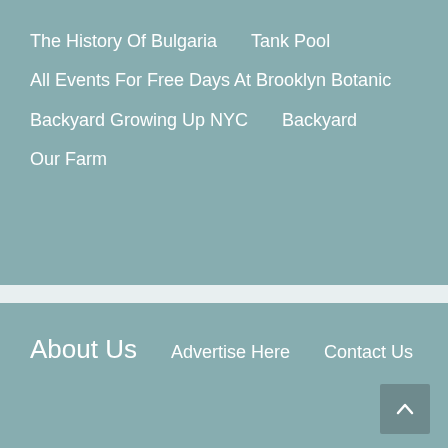The History Of Bulgaria
Tank Pool
All Events For Free Days At Brooklyn Botanic
Backyard Growing Up NYC
Backyard
Our Farm
About Us
Advertise Here
Contact Us